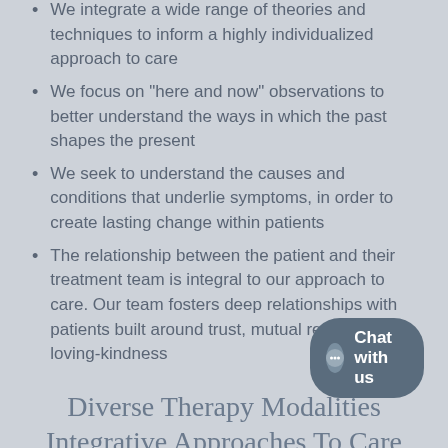We integrate a wide range of theories and techniques to inform a highly individualized approach to care
We focus on "here and now" observations to better understand the ways in which the past shapes the present
We seek to understand the causes and conditions that underlie symptoms, in order to create lasting change within patients
The relationship between the patient and their treatment team is integral to our approach to care. Our team fosters deep relationships with patients built around trust, mutual respect and loving-kindness
Diverse Therapy Modalities Integrative Approaches To Care
Throughout Ethos' different entities, our practitioners